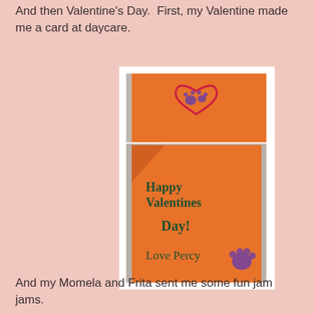And then Valentine's Day.  First, my Valentine made me a card at daycare.
[Figure (photo): Two photos of a handmade Valentine's Day card on orange paper. Top photo shows the card cover with a drawn red heart containing purple paw prints. Bottom photo shows the inside of the card with handwritten text reading 'Happy Valentines Day! Love Percy' with a purple paw print stamp.]
And my Momela and Frita sent me some fun jam jams.